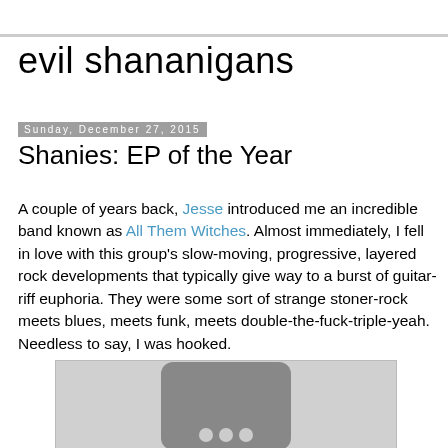evil shananigans
Sunday, December 27, 2015
Shanies: EP of the Year
A couple of years back, Jesse introduced me an incredible band known as All Them Witches. Almost immediately, I fell in love with this group's slow-moving, progressive, layered rock developments that typically give way to a burst of guitar-riff euphoria. They were some sort of strange stoner-rock meets blues, meets funk, meets double-the-fuck-triple-yeah. Needless to say, I was hooked.
[Figure (photo): A music album cover image placeholder showing a dark rounded rectangle icon with light colored dots on a grey background]